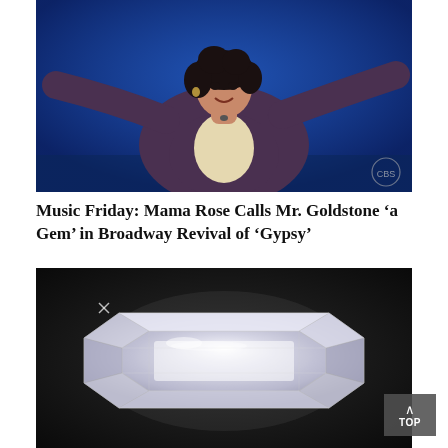[Figure (photo): A performer (woman with dark hair, arms outstretched) on stage against a bright blue background, with a CBS logo watermark in the lower right corner.]
Music Friday: Mama Rose Calls Mr. Goldstone ‘a Gem’ in Broadway Revival of ‘Gypsy’
[Figure (photo): A large emerald-cut diamond gemstone photographed against a dark/black background, gleaming with facets and light reflections.]